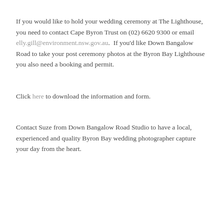If you would like to hold your wedding ceremony at The Lighthouse, you need to contact Cape Byron Trust on (02) 6620 9300 or email elly.gill@environment.nsw.gov.au.  If you'd like Down Bangalow Road to take your post ceremony photos at the Byron Bay Lighthouse you also need a booking and permit.
Click here to download the information and form.
Contact Suze from Down Bangalow Road Studio to have a local, experienced and quality Byron Bay wedding photographer capture your day from the heart.